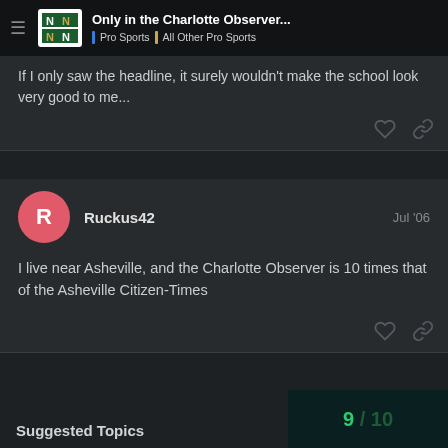Only in the Charlotte Observer... | Pro Sports | All Other Pro Sports
If I only saw the headline, it surely wouldn't make the school look very good to me...
Ruckus42 Jul '06
I live near Asheville, and the Charlotte Observer is 10 times that of the Asheville Citizen-Times
Suggested Topics
9 / 10